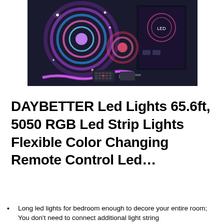[Figure (photo): Product photo of DAYBETTER LED light strip kit showing two coiled RGB LED strip lights with colorful lighting effects, a 44-key remote control, a power adapter/controller unit, and the product box in the background on a dark background.]
DAYBETTER Led Lights 65.6ft, 5050 RGB Led Strip Lights Flexible Color Changing Remote Control Led…
Long led lights for bedroom enough to decore your entire room; You don't need to connect additional light string
room; You don't need to connect additional light string